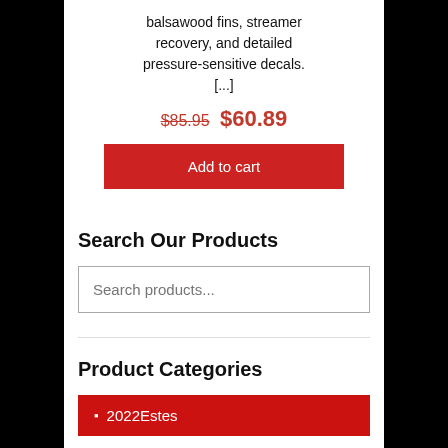balsawood fins, streamer recovery, and detailed pressure-sensitive decals. [...]
$85.95  $60.89
Add to cart
Search Our Products
Search products...
Product Categories
2022Estes